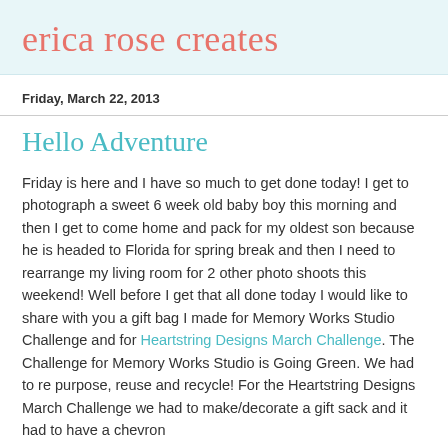erica rose creates
Friday, March 22, 2013
Hello Adventure
Friday is here and I have so much to get done today!  I get to photograph a sweet 6 week old baby boy this morning and then I get to come home and pack for my oldest son because he is headed to Florida for spring break and then I need to rearrange my living room for 2 other photo shoots this weekend!  Well before I get that all done today I would like to share with you a gift bag I made for Memory Works Studio Challenge and for Heartstring Designs March Challenge.  The Challenge for Memory Works Studio is Going Green.  We had to re purpose, reuse and recycle!  For the Heartstring Designs March Challenge we had to make/decorate a gift sack and it had to have a chevron